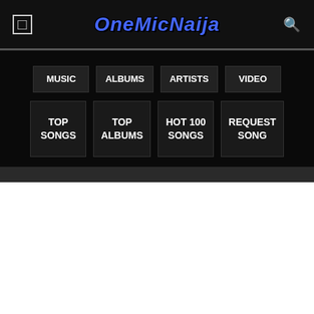OneMicNaija
MUSIC
ALBUMS
ARTISTS
VIDEO
TOP SONGS
TOP ALBUMS
HOT 100 SONGS
REQUEST SONG